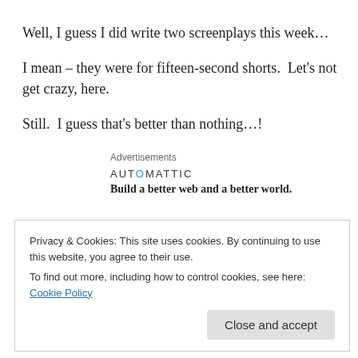Well, I guess I did write two screenplays this week…
I mean – they were for fifteen-second shorts.  Let's not get crazy, here.
Still.  I guess that's better than nothing…!
Advertisements
[Figure (logo): Automattic logo and tagline: 'Build a better web and a better world.']
Privacy & Cookies: This site uses cookies. By continuing to use this website, you agree to their use.
To find out more, including how to control cookies, see here: Cookie Policy